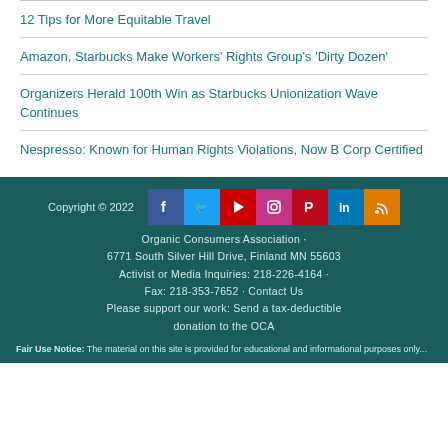12 Tips for More Equitable Travel
Amazon, Starbucks Make Workers' Rights Group's 'Dirty Dozen'
Organizers Herald 100th Win as Starbucks Unionization Wave Continues
Nespresso: Known for Human Rights Violations, Now B Corp Certified
Copyright © 2022 Organic Consumers Association · 6771 South Silver Hill Drive, Finland MN 55603 Activist or Media Inquiries: 218-226-4164 · Fax: 218-353-7652 · Contact Us Please support our work: Send a tax-deductible donation to the OCA
Fair Use Notice: The material on this site is provided for educational and informational purposes only...